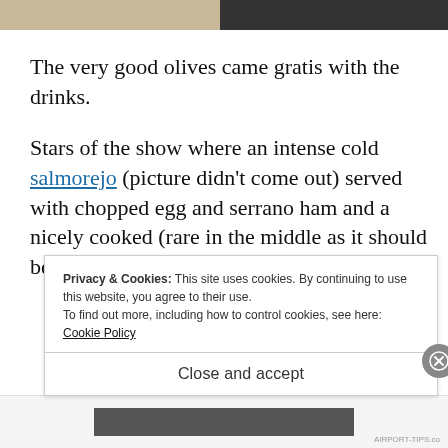[Figure (photo): Two cropped food/restaurant photos side by side at the top of the page — left is lighter (beige/cream tones), right is darker (dark textured background).]
The very good olives came gratis with the drinks.
Stars of the show where an intense cold salmorejo (picture didn't come out) served with chopped egg and serrano ham and a nicely cooked (rare in the middle as it should be) presa
Privacy & Cookies: This site uses cookies. By continuing to use this website, you agree to their use.
To find out more, including how to control cookies, see here: Cookie Policy
Close and accept